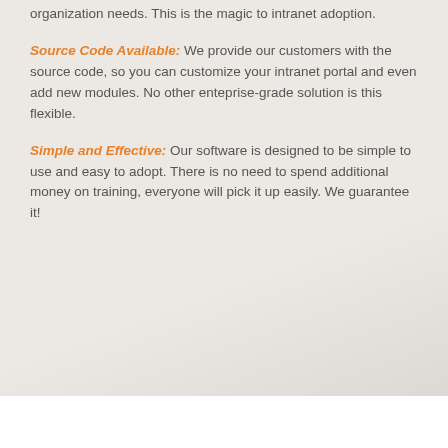organization needs. This is the magic to intranet adoption.
Source Code Available: We provide our customers with the source code, so you can customize your intranet portal and even add new modules. No other enteprise-grade solution is this flexible.
Simple and Effective: Our software is designed to be simple to use and easy to adopt. There is no need to spend additional money on training, everyone will pick it up easily. We guarantee it!